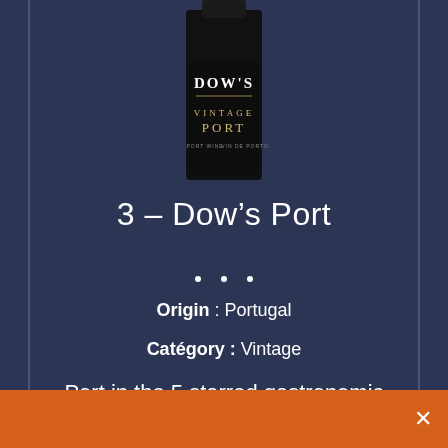[Figure (photo): Dow's Vintage Port wine bottle label showing 'DOW'S VINTAGE PORT PORT WINE VIN DE PORTO' on a dark/black label]
3 – Dow's Port
Origin : Portugal
Catégory : Vintage
Port in the 5 starred gastronomic restaurant wine lists